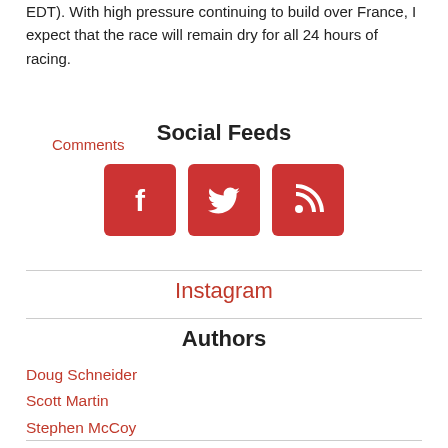EDT). With high pressure continuing to build over France, I expect that the race will remain dry for all 24 hours of racing.
Comments
Social Feeds
[Figure (illustration): Three social media icon buttons: Facebook (f), Twitter (bird), and RSS feed icon, each as white icons on red rounded square backgrounds.]
Instagram
Authors
Doug Schneider
Scott Martin
Stephen McCoy
Harris Cooley